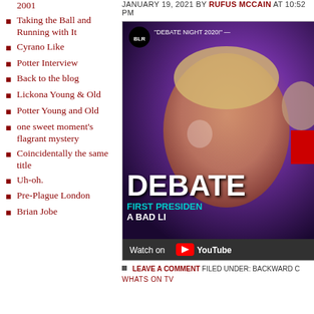2001
Taking the Ball and Running with It
Cyrano Like
Potter Interview
Back to the blog
Lickona Young & Old
Potter Young and Old
one sweet moment's flagrant mystery
Coincidentally the same title
Uh-oh.
Pre-Plague London
Brian Jobe
JANUARY 19, 2021 BY RUFUS MCCAIN AT 10:52 PM
[Figure (screenshot): YouTube video thumbnail for BLR 'DEBATE NIGHT 2020!' showing a close-up of a debate participant with text 'DEBATE FIRST PRESIDEN A BAD LI' and a Watch on YouTube bar at the bottom.]
LEAVE A COMMENT FILED UNDER: BACKWARD C
WHATS ON TV